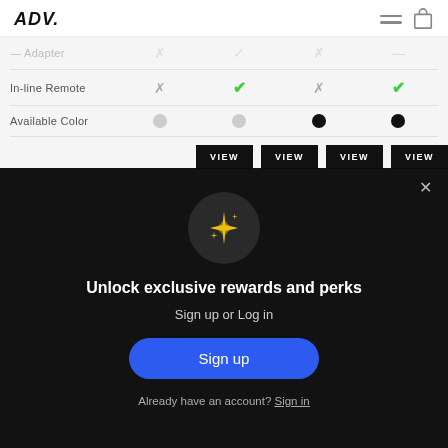ADV.
| Feature | Col1 | Col2 | Col3 | Col4 |
| --- | --- | --- | --- | --- |
| In-line Remote | ✗ | ✓ | ✗ | ✓ |
| Available Color | light | light | dark | dark |
[Figure (screenshot): Modal overlay on dark background with sparkle icon, 'Unlock exclusive rewards and perks' heading, 'Sign up or Log in' text, blue 'Sign up' button, and 'Already have an account? Sign in' link]
Unlock exclusive rewards and perks
Sign up or Log in
Sign up
Already have an account? Sign in